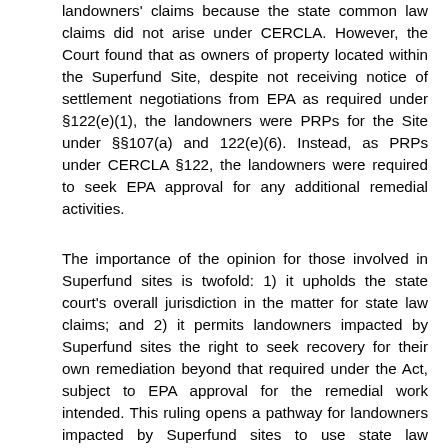landowners' claims because the state common law claims did not arise under CERCLA. However, the Court found that as owners of property located within the Superfund Site, despite not receiving notice of settlement negotiations from EPA as required under §122(e)(1), the landowners were PRPs for the Site under §§107(a) and 122(e)(6). Instead, as PRPs under CERCLA §122, the landowners were required to seek EPA approval for any additional remedial activities.
The importance of the opinion for those involved in Superfund sites is twofold: 1) it upholds the state court's overall jurisdiction in the matter for state law claims; and 2) it permits landowners impacted by Superfund sites the right to seek recovery for their own remediation beyond that required under the Act, subject to EPA approval for the remedial work intended. This ruling opens a pathway for landowners impacted by Superfund sites to use state law remedies to compel more stringent cleanups. Even at sites where EPA has reached a decision and site cleanup has taken place, there now remains opportunity for regulators to effectively set aside cleanup determinations and potentially allow local residents to pursue additional cleanup. In the case